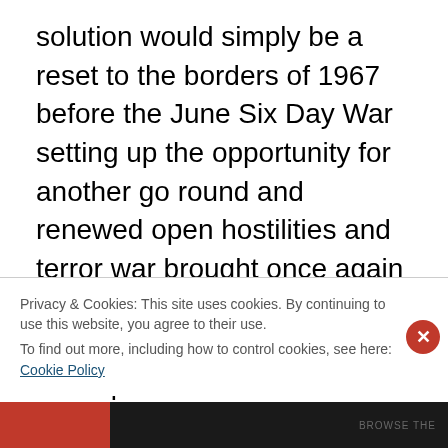solution would simply be a reset to the borders of 1967 before the June Six Day War setting up the opportunity for another go round and renewed open hostilities and terror war brought once again to the heart of Jerusalem where Arab marksmen would sit atop the walls of the Old City or any high structure and shoot Israelis when they were presented as a potential target making much of western Jerusalem a “no man’s land” where crossing the street in daylight hours was suicide and now with night scopes even the night becomes a potentially fateful choice to cross a street. Additionally, it would place Israeli areas in
Privacy & Cookies: This site uses cookies. By continuing to use this website, you agree to their use.
To find out more, including how to control cookies, see here: Cookie Policy